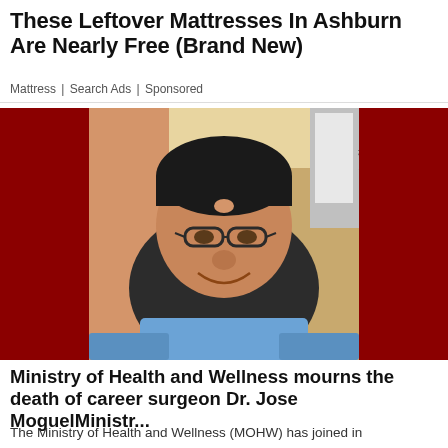These Leftover Mattresses In Ashburn Are Nearly Free (Brand New)
Mattress | Search Ads | Sponsored
[Figure (photo): A smiling man wearing glasses and blue medical scrubs seated in a dark leather chair, with a medical office background including an eye chart. Dark red panels flank either side of the photo.]
Ministry of Health and Wellness mourns the death of career surgeon Dr. Jose MoguelMinistr...
The Ministry of Health and Wellness (MOHW) has joined in